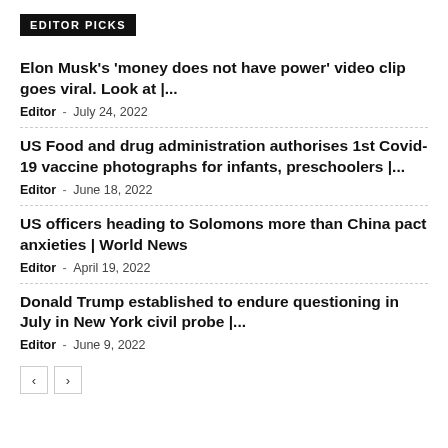EDITOR PICKS
Elon Musk's 'money does not have power' video clip goes viral. Look at |...
Editor - July 24, 2022
US Food and drug administration authorises 1st Covid-19 vaccine photographs for infants, preschoolers |...
Editor - June 18, 2022
US officers heading to Solomons more than China pact anxieties | World News
Editor - April 19, 2022
Donald Trump established to endure questioning in July in New York civil probe |...
Editor - June 9, 2022